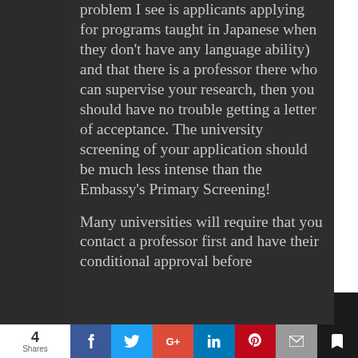problem I see is applicants applying for programs taught in Japanese when they don't have any language ability) and that there is a professor there who can supervise your research, then you should have no trouble getting a letter of acceptance. The university screening of your application should be much less intense than the Embassy's Primary Screening!
Many universities will require that you contact a professor first and have their conditional approval before
4 Shares | Facebook | Twitter | Google+ | LinkedIn | Pinterest | Email | Save